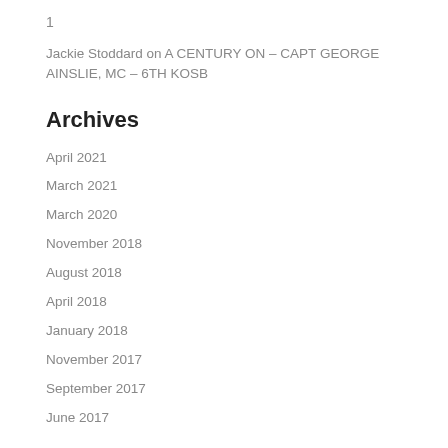1
Jackie Stoddard on A CENTURY ON – CAPT GEORGE AINSLIE, MC – 6TH KOSB
Archives
April 2021
March 2021
March 2020
November 2018
August 2018
April 2018
January 2018
November 2017
September 2017
June 2017